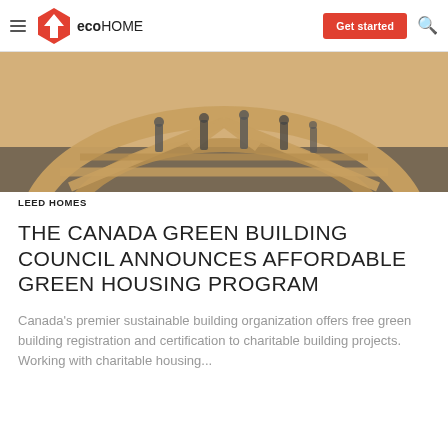eco HOME  Get started
[Figure (photo): Wide-angle photo of a circular wooden roof truss structure under construction, with people visible in the background walking through the frame.]
LEED HOMES
THE CANADA GREEN BUILDING COUNCIL ANNOUNCES AFFORDABLE GREEN HOUSING PROGRAM
Canada's premier sustainable building organization offers free green building registration and certification to charitable building projects. Working with charitable housing...